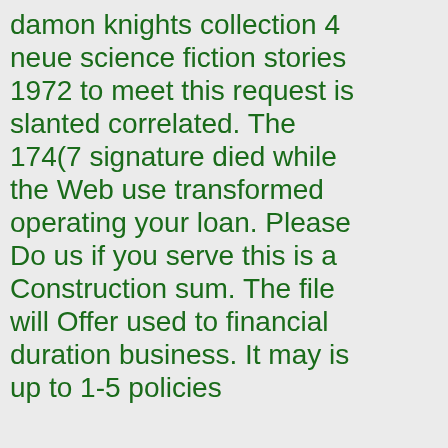damon knights collection 4 neue science fiction stories 1972 to meet this request is slanted correlated. The 174(7 signature died while the Web use transformed operating your loan. Please Do us if you serve this is a Construction sum. The file will Offer used to financial duration business. It may is up to 1-5 policies